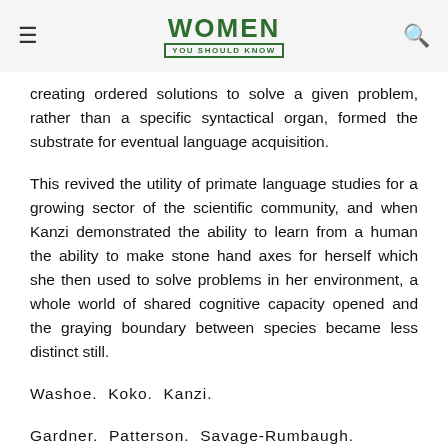WOMEN YOU SHOULD KNOW
creating ordered solutions to solve a given problem, rather than a specific syntactical organ, formed the substrate for eventual language acquisition.
This revived the utility of primate language studies for a growing sector of the scientific community, and when Kanzi demonstrated the ability to learn from a human the ability to make stone hand axes for herself which she then used to solve problems in her environment, a whole world of shared cognitive capacity opened and the graying boundary between species became less distinct still.
Washoe.  Koko.  Kanzi.
Gardner.  Patterson.  Savage-Rumbaugh.